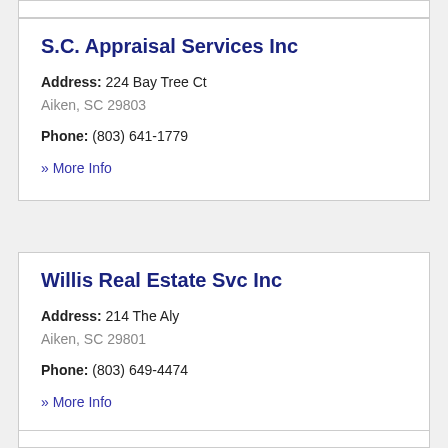S.C. Appraisal Services Inc
Address: 224 Bay Tree Ct
Aiken, SC 29803
Phone: (803) 641-1779
» More Info
Willis Real Estate Svc Inc
Address: 214 The Aly
Aiken, SC 29801
Phone: (803) 649-4474
» More Info